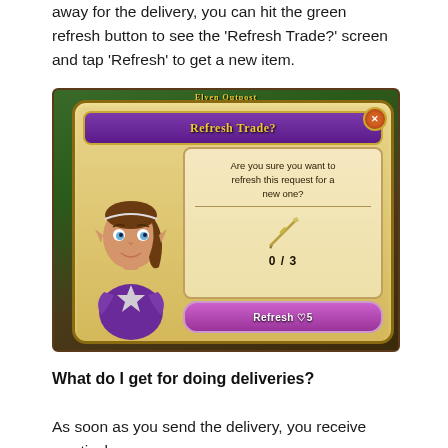away for the delivery, you can hit the green refresh button to see the 'Refresh Trade?' screen and tap 'Refresh' to get a new item.
[Figure (screenshot): Game screenshot showing a 'Refresh Trade?' dialog popup in what appears to be a fantasy mobile game called 'Elven Outpost'. The dialog shows an elf character asking 'Are you sure you want to refresh this request for a new one?' with a sword icon showing 0/3 count, and a purple 'Refresh' button with a heart icon showing cost of 5.]
What do I get for doing deliveries?
As soon as you send the delivery, you receive mystical